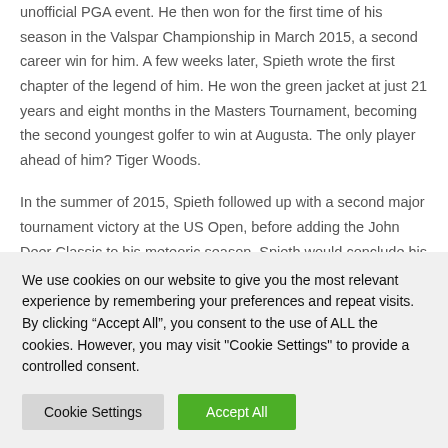unofficial PGA event. He then won for the first time of his season in the Valspar Championship in March 2015, a second career win for him. A few weeks later, Spieth wrote the first chapter of the legend of him. He won the green jacket at just 21 years and eight months in the Masters Tournament, becoming the second youngest golfer to win at Augusta. The only player ahead of him? Tiger Woods.
In the summer of 2015, Spieth followed up with a second major tournament victory at the US Open, before adding the John Deer Classic to his meteoric season. Spieth would conclude his
We use cookies on our website to give you the most relevant experience by remembering your preferences and repeat visits. By clicking "Accept All", you consent to the use of ALL the cookies. However, you may visit "Cookie Settings" to provide a controlled consent.